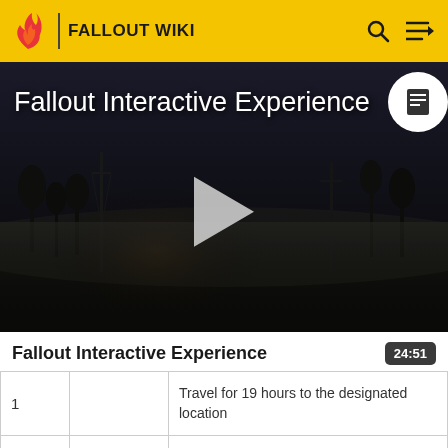FALLOUT WIKI
[Figure (screenshot): Dark post-apocalyptic video thumbnail showing 'Fallout Interactive Experience' title text and a play button in the center. Background shows a dark foggy landscape with dead trees and utility poles.]
Fallout Interactive Experience
| # |  | Description |
| --- | --- | --- |
| 1 |  | Travel for 19 hours to the designated location |
| 2 | ✓ | Explore the building. |